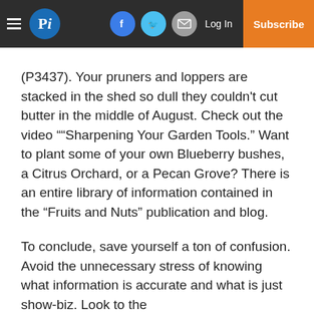Pi [logo] | Facebook | Twitter | Email | Log In | Subscribe
(P3437). Your pruners and loppers are stacked in the shed so dull they couldn't cut butter in the middle of August. Check out the video "“Sharpening Your Garden Tools.” Want to plant some of your own Blueberry bushes, a Citrus Orchard, or a Pecan Grove? There is an entire library of information contained in the “Fruits and Nuts” publication and blog.
To conclude, save yourself a ton of confusion. Avoid the unnecessary stress of knowing what information is accurate and what is just show-biz. Look to the